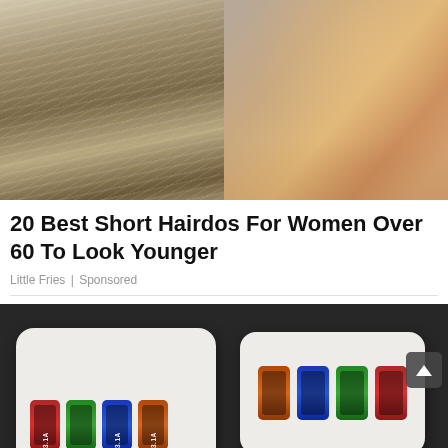[Figure (photo): Two photos of women with short hairdos side by side. Left photo shows the back of a woman's short layered blonde/brown hair. Right photo shows the front of a smiling older woman with short blonde hair and earrings.]
20 Best Short Hairdos For Women Over 60 To Look Younger
Little Fries | Sponsored
[Figure (photo): Photo of two multi-port USB charger adapters being held in someone's hand. Left charger shows four colored USB ports (red, green, blue, orange) each labeled 3.1A. Right charger shows four colored USB ports in different order.]